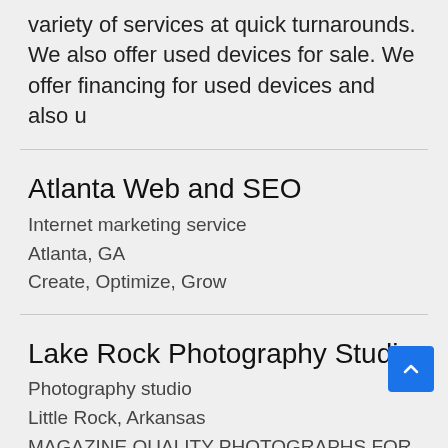variety of services at quick turnarounds. We also offer used devices for sale. We offer financing for used devices and also u
Atlanta Web and SEO
Internet marketing service
Atlanta, GA
Create, Optimize, Grow
Lake Rock Photography Studio
Photography studio
Little Rock, Arkansas
MAGAZINE QUALITY PHOTOGRAPHS FOR
EVERYDAY PEOPLE